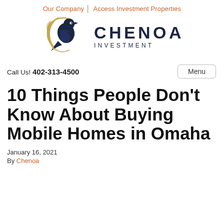Our Company   Access Investment Properties
[Figure (logo): Chenoa Investment logo: a bird/dove illustration with a gold crescent arc on the left, and the text CHENOA INVESTMENT in dark navy on the right]
Call Us! 402-313-4500
Menu
10 Things People Don’t Know About Buying Mobile Homes in Omaha
January 16, 2021
By Chenoa